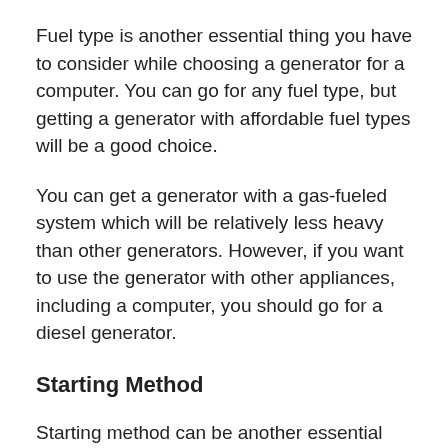Fuel type is another essential thing you have to consider while choosing a generator for a computer. You can go for any fuel type, but getting a generator with affordable fuel types will be a good choice.
You can get a generator with a gas-fueled system which will be relatively less heavy than other generators. However, if you want to use the generator with other appliances, including a computer, you should go for a diesel generator.
Starting Method
Starting method can be another essential aspect